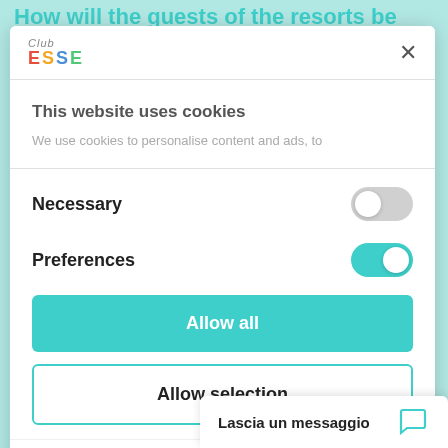How will the guests of the resorts be
[Figure (screenshot): Cookie consent modal dialog for Club ESSE website. Modal contains: logo with 'Club ESSE' text, close X button, 'This website uses cookies' heading, cookie description text, Necessary toggle (off/grey), Preferences toggle (on/teal), 'Allow all' teal button, 'Allow selection' outlined button, 'Powered by Co...' footer]
This website uses cookies
We use cookies to personalise content and ads, to
Necessary
Preferences
Allow all
Allow selection
Powered by Co
Lascia un messaggio
manage to com...